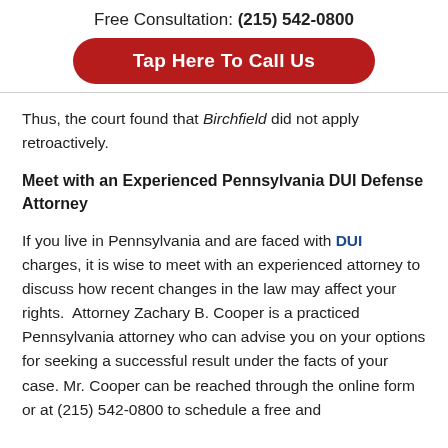Free Consultation: (215) 542-0800
Tap Here To Call Us
Thus, the court found that Birchfield did not apply retroactively.
Meet with an Experienced Pennsylvania DUI Defense Attorney
If you live in Pennsylvania and are faced with DUI charges, it is wise to meet with an experienced attorney to discuss how recent changes in the law may affect your rights.  Attorney Zachary B. Cooper is a practiced Pennsylvania attorney who can advise you on your options for seeking a successful result under the facts of your case. Mr. Cooper can be reached through the online form or at (215) 542-0800 to schedule a free and